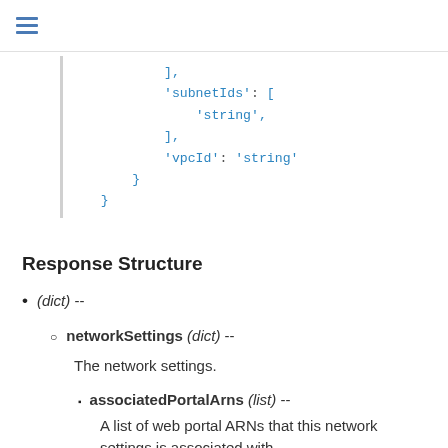≡
],
'subnetIds': [
    'string',
],
'vpcId': 'string'
}
}
Response Structure
(dict) --
networkSettings (dict) --
The network settings.
associatedPortalArns (list) --
A list of web portal ARNs that this network settings is associated with.
(string) --